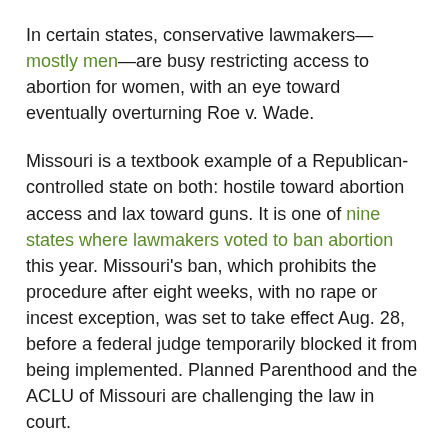In certain states, conservative lawmakers—mostly men—are busy restricting access to abortion for women, with an eye toward eventually overturning Roe v. Wade.
Missouri is a textbook example of a Republican-controlled state on both: hostile toward abortion access and lax toward guns. It is one of nine states where lawmakers voted to ban abortion this year. Missouri's ban, which prohibits the procedure after eight weeks, with no rape or incest exception, was set to take effect Aug. 28, before a federal judge temporarily blocked it from being implemented. Planned Parenthood and the ACLU of Missouri are challenging the law in court.
Meanwhile, as some states have been fortifying their firearm laws in the wake of mass shootings, Missouri has done just the opposite—making it even easier for residents to get guns.